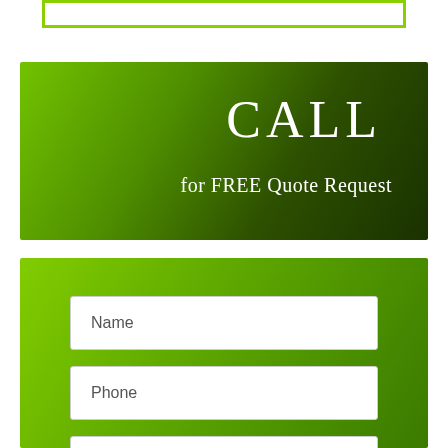[Figure (other): Green-bordered empty box at the top of the page]
[Figure (infographic): Green gradient banner with white text reading CALL for FREE Quote Request]
[Figure (infographic): Green gradient form section with Name and Phone input fields]